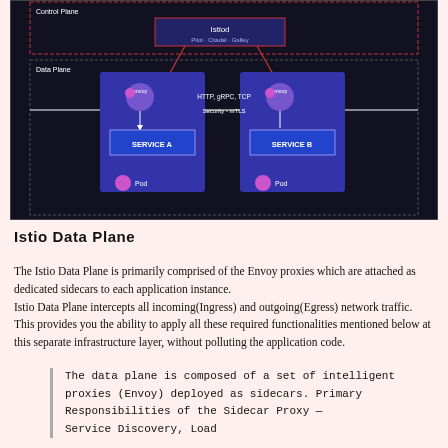[Figure (schematic): Istio architecture diagram showing Data Plane with two Envoy proxy sidecars attached to Service A and Service B pods, communicating via HTTP, gRPC, TCP with mTLS security]
Istio Data Plane
The Istio Data Plane is primarily comprised of the Envoy proxies which are attached as dedicated sidecars to each application instance.
Istio Data Plane intercepts all incoming(Ingress) and outgoing(Egress) network traffic. This provides you the ability to apply all these required functionalities mentioned below at this separate infrastructure layer, without polluting the application code.
The data plane is composed of a set of intelligent proxies (Envoy) deployed as sidecars. Primary Responsibilities of the Sidecar Proxy —
Service Discovery, Load